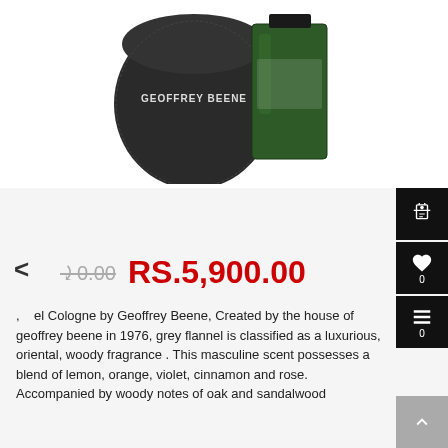[Figure (photo): Geoffrey Beene perfume/cologne product image showing a dark fabric pouch with GEOFFREY BEENE text and a green glass cologne bottle]
RS.6,170.00 RS.5,900.00
el Cologne by Geoffrey Beene, Created by the house of geoffrey beene in 1976, grey flannel is classified as a luxurious, oriental, woody fragrance . This masculine scent possesses a blend of lemon, orange, violet, cinnamon and rose. Accompanied by woody notes of oak and sandalwood
Size   120 ML
Quantity   - 1 +